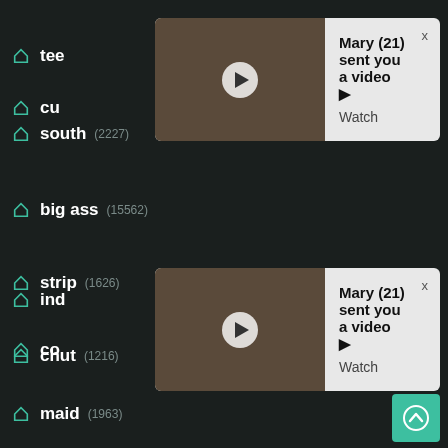[Figure (screenshot): Notification popup 1: Mary (21) sent you a video, with thumbnail and Watch link]
[Figure (screenshot): Notification popup 2: Mary (21) sent you a video, with thumbnail and Watch link]
south (2227)
big ass (15562)
strip (1626)
chut (1216)
maid (1963)